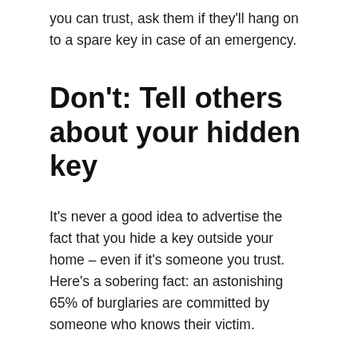you can trust, ask them if they'll hang on to a spare key in case of an emergency.
Don't: Tell others about your hidden key
It's never a good idea to advertise the fact that you hide a key outside your home – even if it's someone you trust. Here's a sobering fact: an astonishing 65% of burglaries are committed by someone who knows their victim.
If a friend or family member needs to gain access to your home, hide the key in a different place after they've